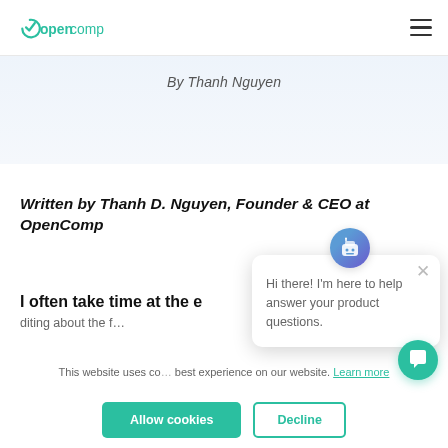opencomp
By Thanh Nguyen
Written by Thanh D. Nguyen, Founder & CEO at OpenComp
I often take time at the e…
[Figure (screenshot): Chat popup widget with robot/bot avatar icon saying 'Hi there! I'm here to help answer your product questions.' with an X close button]
This website uses co… best experience on our website. Learn more
Allow cookies | Decline